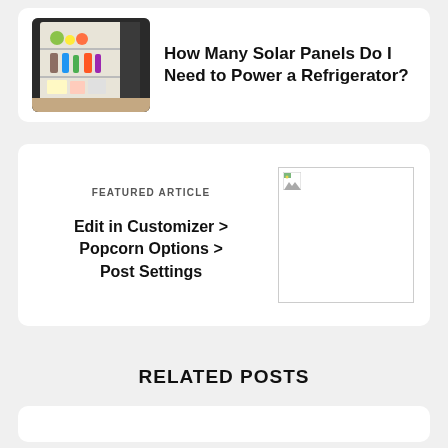[Figure (photo): Open refrigerator stocked with food and drinks]
How Many Solar Panels Do I Need to Power a Refrigerator?
FEATURED ARTICLE
Edit in Customizer > Popcorn Options > Post Settings
[Figure (photo): Broken image placeholder]
RELATED POSTS